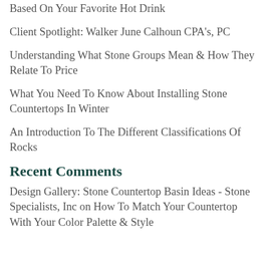Based On Your Favorite Hot Drink
Client Spotlight: Walker June Calhoun CPA's, PC
Understanding What Stone Groups Mean & How They Relate To Price
What You Need To Know About Installing Stone Countertops In Winter
An Introduction To The Different Classifications Of Rocks
Recent Comments
Design Gallery: Stone Countertop Basin Ideas - Stone Specialists, Inc on How To Match Your Countertop With Your Color Palette & Style